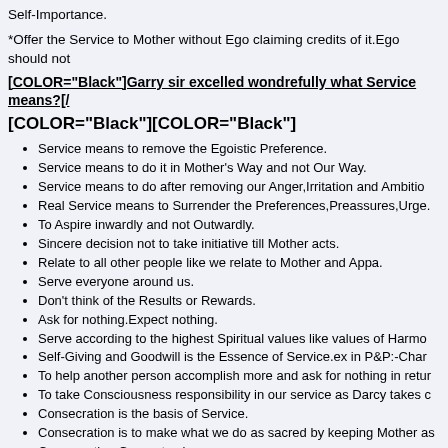Self-Importance.
*Offer the Service to Mother without Ego claiming credits of it.Ego should not
[COLOR="Black"]Garry sir excelled wondrefully what Service means?[/
[COLOR="Black"][COLOR="Black"]
Service means to remove the Egoistic Preference.
Service means to do it in Mother's Way and not Our Way.
Service means to do after removing our Anger,Irritation and Ambitio
Real Service means to Surrender the Preferences,Preassures,Urge.
To Aspire inwardly and not Outwardly.
Sincere decision not to take initiative till Mother acts.
Relate to all other people like we relate to Mother and Appa.
Serve everyone around us.
Don't think of the Results or Rewards.
Ask for nothing.Expect nothing.
Serve according to the highest Spiritual values like values of Harmo
Self-Giving and Goodwill is the Essence of Service.ex in P&P:-Char
To help another person accomplish more and ask for nothing in retur
To take Consciousness responsibility in our service as Darcy takes
Consecration is the basis of Service.
Consecration is to make what we do as sacred by keeping Mother as
Consecration Generates joy.
True Service is the Aspiration to transform our Ignorance,Incapaciti
The greatest Service to Mother is to Aspire for our own Self-Perfecti
To take Everything happens is happening for our Progress.
Joy and cheefulness are outer ways to serve Mother.
Central truth of Life Divine is "Outer Life is the Expression of Inner C